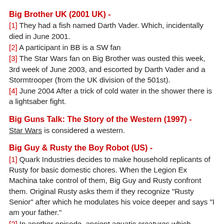Big Brother UK (2001 UK) -
[1] They had a fish named Darth Vader. Which, incidentally died in June 2001.
[2] A participant in BB is a SW fan
[3] The Star Wars fan on Big Brother was ousted this week, 3rd week of June 2003, and escorted by Darth Vader and a Stormtrooper (from the UK division of the 501st).
[4] June 2004 After a trick of cold water in the shower there is a lightsaber fight.
Big Guns Talk: The Story of the Western (1997) -
Star Wars is considered a western.
Big Guy & Rusty the Boy Robot (US) -
[1] Quark Industries decides to make household replicants of Rusty for basic domestic chores. When the Legion Ex Machina take control of them, Big Guy and Rusty confront them. Original Rusty asks them if they recognize "Rusty Senior" after which he modulates his voice deeper and says "I am your father."
[2] In another episode, ancient aquatic creatures which